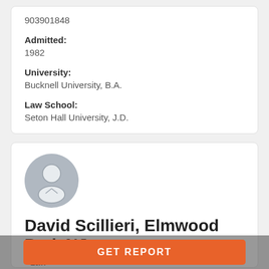903901848
Admitted:
1982
University:
Bucknell University, B.A.
Law School:
Seton Hall University, J.D.
[Figure (illustration): Generic placeholder avatar icon showing a person silhouette in a gray circle]
David Scillieri, Elmwood Park NJ
- Law
GET REPORT